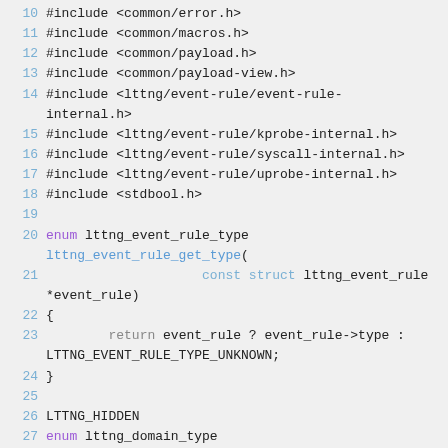Code listing showing C source with line numbers 10-28, including #include directives and enum function definitions for lttng event rule types.